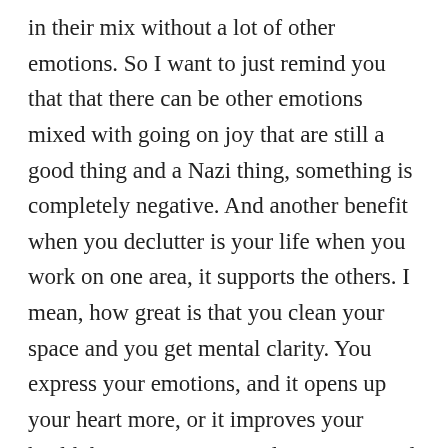in their mix without a lot of other emotions. So I want to just remind you that that there can be other emotions mixed with going on joy that are still a good thing and a Nazi thing, something is completely negative. And another benefit when you declutter is your life when you work on one area, it supports the others. I mean, how great is that you clean your space and you get mental clarity. You express your emotions, and it opens up your heart more, or it improves your health because you're not doing emotional eating. If you work on having better health, that gives you peace of mind, it allows you to worry less, it will probably save you financial clutter because you won't be